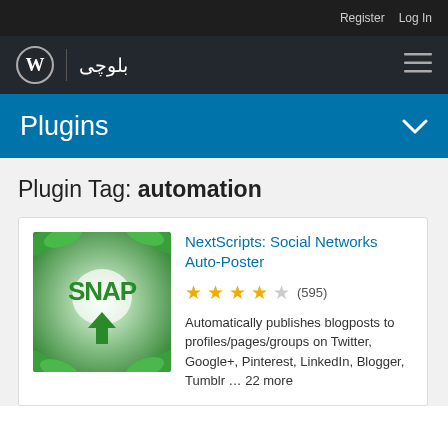Register  Log In
WordPress | بلوچی
Plugins
Plugin Tag: automation
[Figure (logo): SNAP plugin logo with green leaves and a green downward arrow on white/green background]
NextScripts: Social Networks Auto-Poster
★★★★☆ (595)
Automatically publishes blogposts to profiles/pages/groups on Twitter, Google+, Pinterest, LinkedIn, Blogger, Tumblr … 22 more